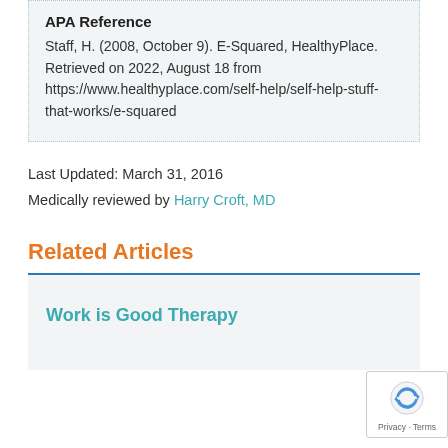APA Reference
Staff, H. (2008, October 9). E-Squared, HealthyPlace. Retrieved on 2022, August 18 from https://www.healthyplace.com/self-help/self-help-stuff-that-works/e-squared
Last Updated: March 31, 2016
Medically reviewed by Harry Croft, MD
Related Articles
Work is Good Therapy